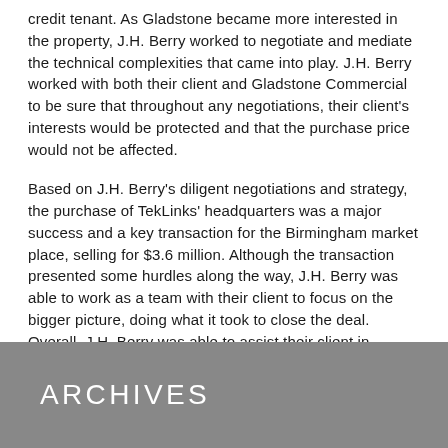credit tenant. As Gladstone became more interested in the property, J.H. Berry worked to negotiate and mediate the technical complexities that came into play. J.H. Berry worked with both their client and Gladstone Commercial to be sure that throughout any negotiations, their client's interests would be protected and that the purchase price would not be affected.
Based on J.H. Berry's diligent negotiations and strategy, the purchase of TekLinks' headquarters was a major success and a key transaction for the Birmingham market place, selling for $3.6 million. Although the transaction presented some hurdles along the way, J.H. Berry was able to work as a team with their client to focus on the bigger picture, doing what it took to close the deal. Overall, J.H. Berry was able to assist their client in achieving great financial success in a significant transaction, while also introducing a publicly traded company into to the Birmingham market.
ARCHIVES